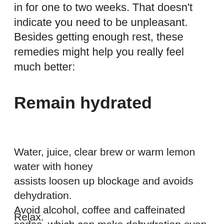in for one to two weeks. That doesn't indicate you need to be unpleasant. Besides getting enough rest, these remedies might help you really feel much better:
Remain hydrated
Water, juice, clear brew or warm lemon water with honey assists loosen up blockage and avoids dehydration. Avoid alcohol, coffee and caffeinated sodas, which can make dehydration even worse.
Relax.